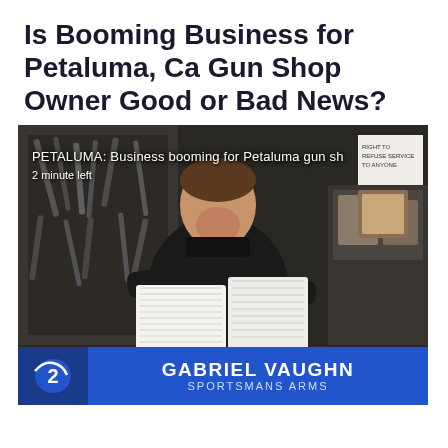Is Booming Business for Petaluma, Ca Gun Shop Owner Good or Bad News?
[Figure (screenshot): TV news screenshot showing a man in a black jacket holding stacks of papers in a gun shop. Lower third graphic shows KTVU logo with text 'GABRIEL VAUGHN – SPORTSMANS ARMS'. Chyron overlay reads 'PETALUMA: Business booming for Petaluma gun sh...' and '2 minute left'.]